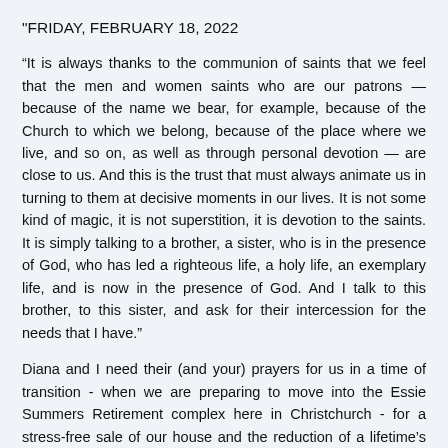"FRIDAY, FEBRUARY 18, 2022
“It is always thanks to the communion of saints that we feel that the men and women saints who are our patrons — because of the name we bear, for example, because of the Church to which we belong, because of the place where we live, and so on, as well as through personal devotion — are close to us. And this is the trust that must always animate us in turning to them at decisive moments in our lives. It is not some kind of magic, it is not superstition, it is devotion to the saints. It is simply talking to a brother, a sister, who is in the presence of God, who has led a righteous life, a holy life, an exemplary life, and is now in the presence of God. And I talk to this brother, to this sister, and ask for their intercession for the needs that I have.”
Diana and I need their (and your) prayers for us in a time of transition - when we are preparing to move into the Essie Summers Retirement complex here in Christchurch - for a stress-free sale of our house and the reduction of a lifetime’s clutter.